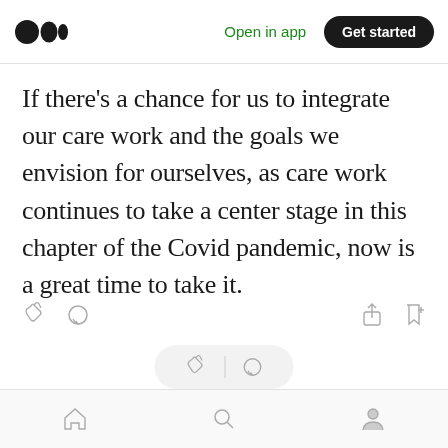Medium logo | Open in app | Get started
If there’s a chance for us to integrate our care work and the goals we envision for ourselves, as care work continues to take a center stage in this chapter of the Covid pandemic, now is a great time to take it.
[Figure (screenshot): Article action bar with clap, comment, share, and bookmark icons]
[Figure (screenshot): Floating pill with clap and comment icons]